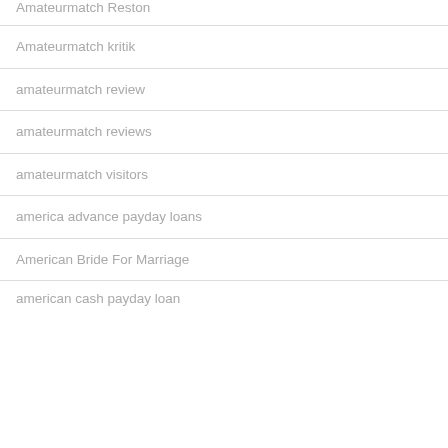Amateurmatch Reston
Amateurmatch kritik
amateurmatch review
amateurmatch reviews
amateurmatch visitors
america advance payday loans
American Bride For Marriage
american cash payday loan